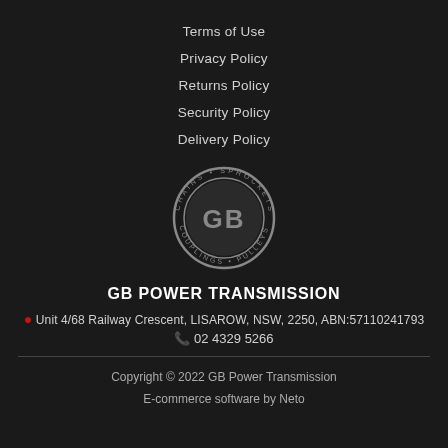Terms of Use
Privacy Policy
Returns Policy
Security Policy
Delivery Policy
[Figure (logo): GB Power Transmission circular logo with text CHAINS, SPROCKETS, PULLEYS, COUPLINGS around the edge and GB initials in the center]
GB POWER TRANSMISSION
Unit 4/68 Railway Crescent, LISAROW, NSW, 2250, ABN:57110241793
02 4329 5266
Copyright © 2022 GB Power Transmission
E-commerce software by Neto